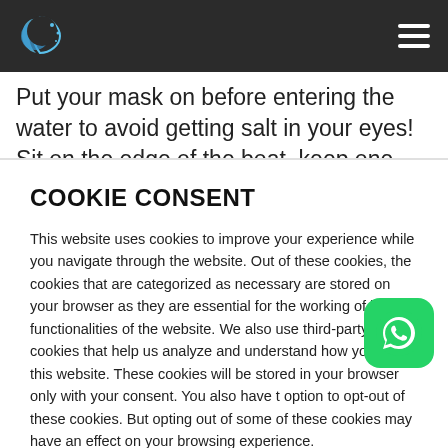Tina Luna Accessories logo and navigation menu
Put your mask on before entering the water to avoid getting salt in your eyes! Sit on the edge of the boat, keep one hand on your mask when you enter the water so that it doesn't shoot off your
COOKIE CONSENT
This website uses cookies to improve your experience while you navigate through the website. Out of these cookies, the cookies that are categorized as necessary are stored on your browser as they are essential for the working of basic functionalities of the website. We also use third-party cookies that help us analyze and understand how you use this website. These cookies will be stored in your browser only with your consent. You also have the option to opt-out of these cookies. But opting out of some of these cookies may have an effect on your browsing experience.
Read more | I accept